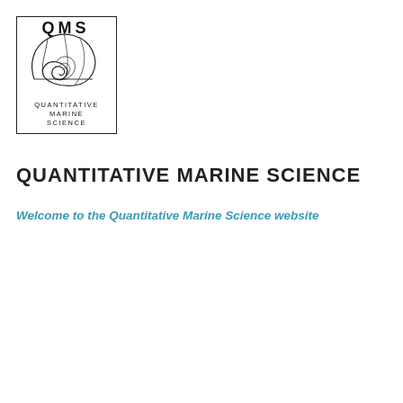[Figure (logo): QMS Quantitative Marine Science logo: a bordered box with 'QMS' text at top, a nautilus shell line drawing in center, and 'QUANTITATIVE MARINE SCIENCE' text below in spaced capitals.]
QUANTITATIVE MARINE SCIENCE
Welcome to the Quantitative Marine Science website